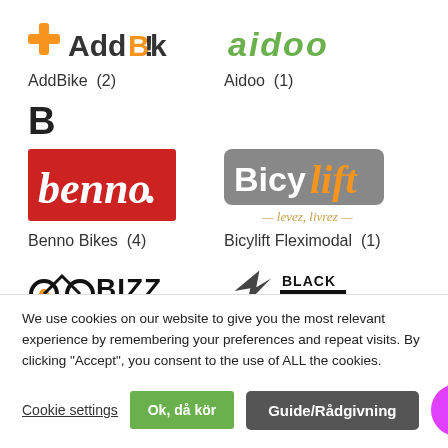[Figure (logo): AddBike logo - orange plus sign with dark grey AddBike text]
[Figure (logo): Aidoo logo - green stylized text aidoo]
AddBike  (2)
Aidoo  (1)
B
[Figure (logo): Benno Bikes logo - red rectangle with white italic benno. text]
[Figure (logo): Bicylift Fleximodal logo - grey and orange text with levez, livrez tagline]
Benno Bikes  (4)
Bicylift Fleximodal  (1)
[Figure (logo): Bizz on Wheels logo - black bicycle icon with BIZZ text]
[Figure (logo): Black Iron logo - bird/arrow icon with BLACK IRON text]
We use cookies on our website to give you the most relevant experience by remembering your preferences and repeat visits. By clicking “Accept”, you consent to the use of ALL the cookies.
Cookie settings
Ok, då kör
Guide/Rådgivning